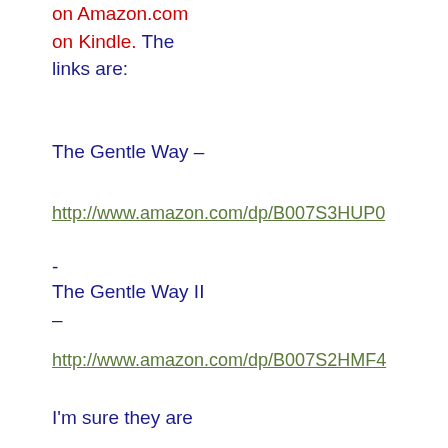on Amazon.com on Kindle.  The links are:
The Gentle Way –
http://www.amazon.com/dp/B007S3HUP0
-
The Gentle Way II –
http://www.amazon.com/dp/B007S2HMF4
I'm sure they are now, or will be soon, available on other Ebook services.  Some services take a few